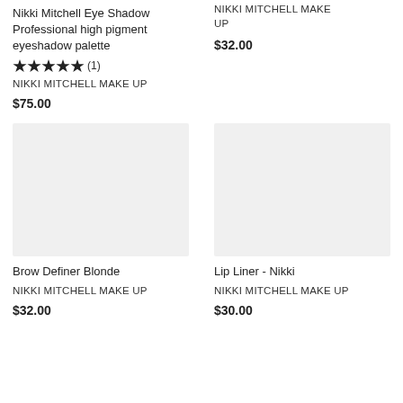Nikki Mitchell Eye Shadow Professional high pigment eyeshadow palette
★★★★★ (1)
NIKKI MITCHELL MAKE UP
$75.00
NIKKI MITCHELL MAKE UP
$32.00
[Figure (photo): Product image placeholder - Brow Definer Blonde, light gray background]
Brow Definer Blonde NIKKI MITCHELL MAKE UP
$32.00
[Figure (photo): Product image placeholder - Lip Liner Nikki, light gray background]
Lip Liner - Nikki NIKKI MITCHELL MAKE UP
$30.00